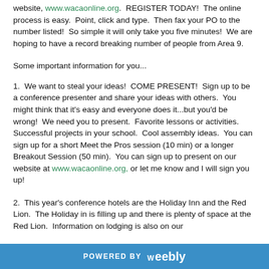website, www.wacaonline.org.  REGISTER TODAY!  The online process is easy.  Point, click and type.  Then fax your PO to the number listed!  So simple it will only take you five minutes!  We are hoping to have a record breaking number of people from Area 9.
Some important information for you...
1.  We want to steal your ideas!  COME PRESENT!  Sign up to be a conference presenter and share your ideas with others.  You might think that it's easy and everyone does it...but you'd be wrong!  We need you to present.  Favorite lessons or activities.  Successful projects in your school.  Cool assembly ideas.  You can sign up for a short Meet the Pros session (10 min) or a longer Breakout Session (50 min).  You can sign up to present on our website at www.wacaonline.org, or let me know and I will sign you up!
2.  This year's conference hotels are the Holiday Inn and the Red Lion.  The Holiday in is filling up and there is plenty of space at the Red Lion.  Information on lodging is also on our
POWERED BY Weebly